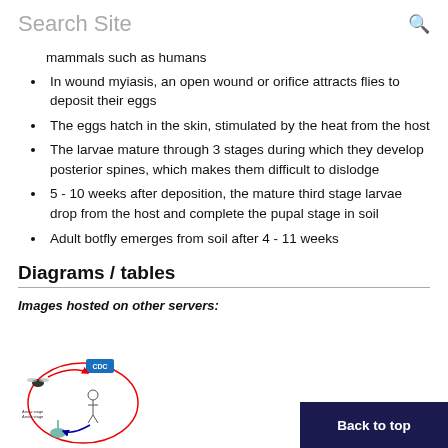Search Site
mammals such as humans
In wound myiasis, an open wound or orifice attracts flies to deposit their eggs
The eggs hatch in the skin, stimulated by the heat from the host
The larvae mature through 3 stages during which they develop posterior spines, which makes them difficult to dislodge
5 - 10 weeks after deposition, the mature third stage larvae drop from the host and complete the pupal stage in soil
Adult botfly emerges from soil after 4 - 11 weeks
Diagrams / tables
Images hosted on other servers:
[Figure (illustration): CDC lifecycle diagram of botfly showing circular life cycle with human host, fly, larvae stages, arrows and labels]